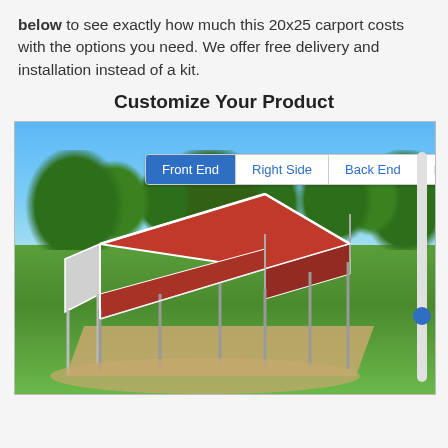below to see exactly how much this 20x25 carport costs with the options you need. We offer free delivery and installation instead of a kit.
Customize Your Product
[Figure (screenshot): Interactive 3D carport configurator showing a red-roofed metal carport on a grass background with sky and trees. Tabs labeled Front End (active/blue), Right Side, Back End, Left Side appear at the top. A vertical slider is on the right edge.]